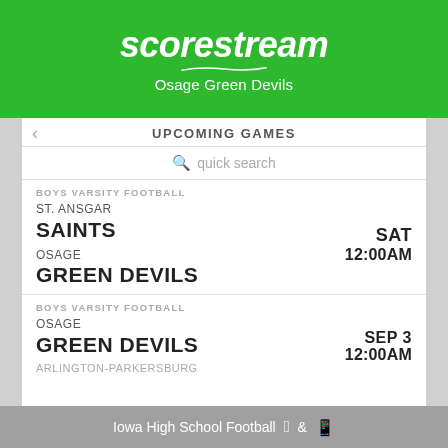scorestream — Osage Green Devils
UPCOMING GAMES
quick search
BOYS VARSITY FOOTBALL
ST. ANSGAR
SAINTS
OSAGE
GREEN DEVILS
SAT 12:00AM
BOYS VARSITY FOOTBALL
OSAGE
GREEN DEVILS
ARLINGTON-PARKERSBURG
SEP 3 12:00AM
Iowa High School Football  &